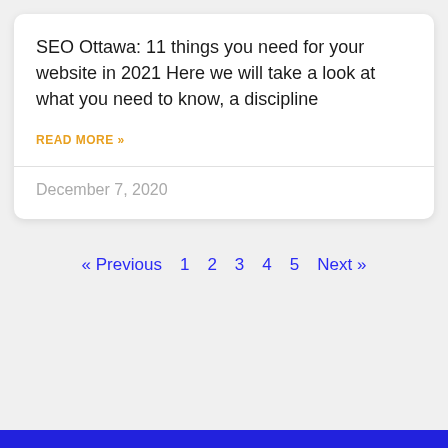SEO Ottawa: 11 things you need for your website in 2021 Here we will take a look at what you need to know, a discipline
READ MORE »
December 7, 2020
« Previous  1  2  3  4  5  Next »